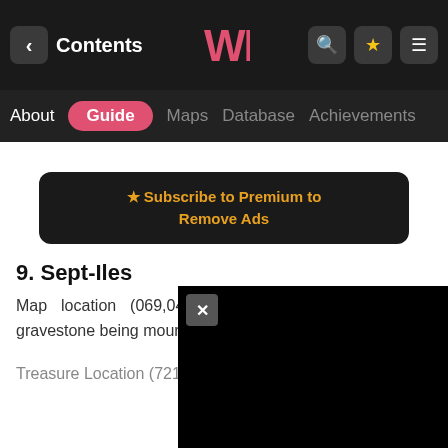< Contents | [logo] | [search] [star] [menu]
About | Guide | Maps | Database | Achievements
[Figure (infographic): Subscribe to Premium to Remove Ads banner with gold star icon on dark background]
9. Sept-Iles
Map location (069,043): On a body in front of a gravestone being mourne...
Treasure Location (721,27...